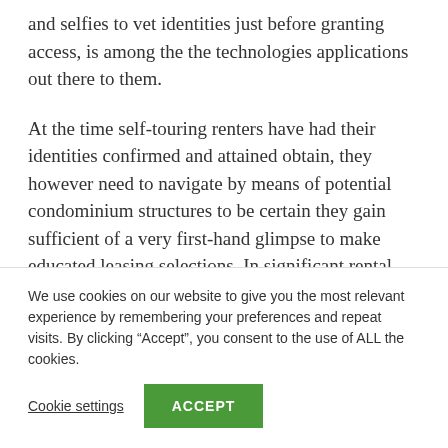and selfies to vet identities just before granting access, is among the the technologies applications out there to them.
At the time self-touring renters have had their identities confirmed and attained obtain, they however need to navigate by means of potential condominium structures to be certain they gain sufficient of a very first-hand glimpse to make educated leasing selections. In significant rental structures, multiple common places on unique floors, along with hundreds of particular person
We use cookies on our website to give you the most relevant experience by remembering your preferences and repeat visits. By clicking “Accept”, you consent to the use of ALL the cookies.